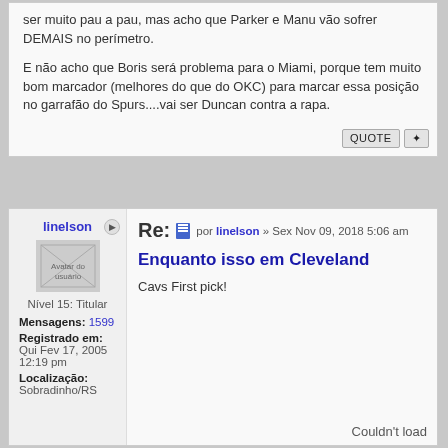ser muito pau a pau, mas acho que Parker e Manu vão sofrer DEMAIS no perímetro.

E não acho que Boris será problema para o Miami, porque tem muito bom marcador (melhores do que do OKC) para marcar essa posição no garrafão do Spurs....vai ser Duncan contra a rapa.
QUOTE
linelson
Avatar do usuário
Nível 15: Titular
Mensagens: 1599
Registrado em: Qui Fev 17, 2005 12:19 pm
Localização: Sobradinho/RS
Re: por linelson » Sex Nov 09, 2018 5:06 am
Enquanto isso em Cleveland
Cavs First pick!
Couldn't load